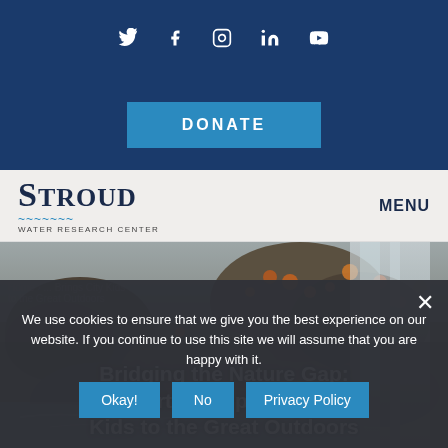Social media icons: Twitter, Facebook, Instagram, LinkedIn, YouTube
DONATE
[Figure (logo): Stroud Water Research Center logo with stylized wave lines]
MENU
[Figure (photo): Stream with rocks and autumn leaves, waterfall in background]
Bridging the Nature Gap: New Partnership Brings City Kids to the Great Outdoors
We use cookies to ensure that we give you the best experience on our website. If you continue to use this site we will assume that you are happy with it.
Okay!  No  Privacy Policy